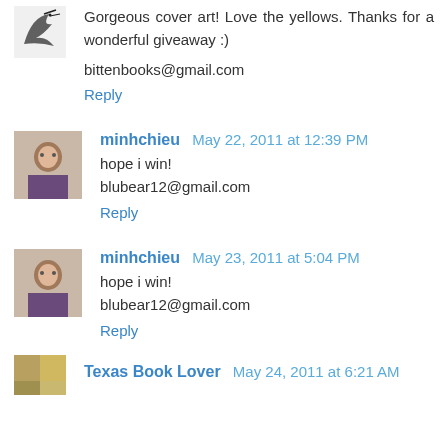[Figure (photo): Small avatar image of a figure with dark floral/bird motif at top left]
Gorgeous cover art! Love the yellows. Thanks for a wonderful giveaway :)
bittenbooks@gmail.com
Reply
[Figure (photo): Small square avatar photo of minhchieu]
minhchieu May 22, 2011 at 12:39 PM
hope i win!
blubear12@gmail.com
Reply
[Figure (photo): Small square avatar photo of minhchieu]
minhchieu May 23, 2011 at 5:04 PM
hope i win!
blubear12@gmail.com
Reply
[Figure (photo): Partial avatar image at bottom]
Texas Book Lover May 24, 2011 at 6:21 AM